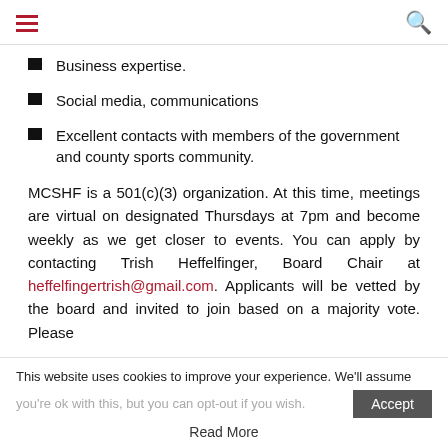[hamburger menu] [search icon]
Business expertise.
Social media, communications
Excellent contacts with members of the government and county sports community.
MCSHF is a 501(c)(3) organization. At this time, meetings are virtual on designated Thursdays at 7pm and become weekly as we get closer to events. You can apply by contacting Trish Heffelfinger, Board Chair at heffelfingertrish@gmail.com. Applicants will be vetted by the board and invited to join based on a majority vote. Please
This website uses cookies to improve your experience. We'll assume you're ok with this, but you can opt-out if you wish. Accept Read More